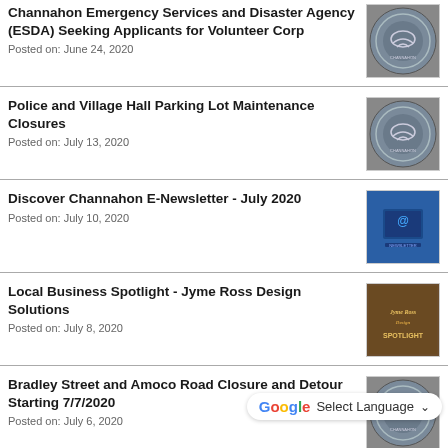Channahon Emergency Services and Disaster Agency (ESDA) Seeking Applicants for Volunteer Corp
Posted on: June 24, 2020
Police and Village Hall Parking Lot Maintenance Closures
Posted on: July 13, 2020
Discover Channahon E-Newsletter - July 2020
Posted on: July 10, 2020
Local Business Spotlight - Jyme Ross Design Solutions
Posted on: July 8, 2020
Bradley Street and Amoco Road Closure and Detour Starting 7/7/2020
Posted on: July 6, 2020
Channahon Village Board Meeting -